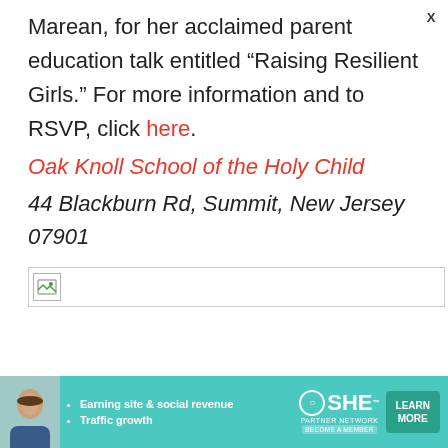Marean, for her acclaimed parent education talk entitled “Raising Resilient Girls.” For more information and to RSVP, click here.
Oak Knoll School of the Holy Child
44 Blackburn Rd, Summit, New Jersey 07901
[Figure (other): Broken image placeholder icon with horizontal divider line]
[Figure (infographic): SHE Partner Network advertisement banner with woman photo, bullet points about Earning site & social revenue and Traffic growth, SHE logo, and Learn More button]